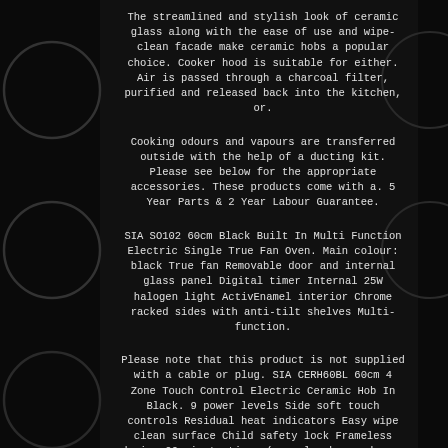The streamlined and stylish look of ceramic glass along with the ease of use and wipe-clean facade make ceramic hobs a popular choice. Cooker hood is suitable for either. Air is passed through a charcoal filter, purified and released back into the kitchen, or.
Cooking odours and vapours are transferred outside with the help of a ducting kit. Please see below for the appropriate accessories. These products come with a. 5 Year Parts & 2 Year Labour Guarantee.
SIA SO102 60cm Black Built In Multi Function Electric Single True Fan Oven. Main colour: black True fan Removable door and internal glass panel Digital timer Internal 25W halogen light ActivEnamel interior Chrome racked sides with anti-tilt shelves Multi-function.
Please note that this product is not supplied with a cable or plug. SIA CERH60BL 60cm 4 Zone Touch Control Electric Ceramic Hob In Black. 9 power levels Side soft touch controls Residual heat indicators Easy wipe clean surface Child safety lock Frameless design 99 minute timer (can also be used as a minute minder) Auto shutdown protection...